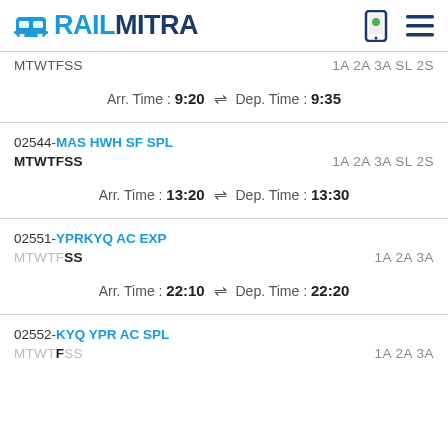RAILMITRA
MTWTFSS   1A 2A 3A SL 2S
Arr. Time : 9:20 ⇌ Dep. Time : 9:35
02544-MAS HWH SF SPL
MTWTFSS   1A 2A 3A SL 2S
Arr. Time : 13:20 ⇌ Dep. Time : 13:30
02551-YPRKYQ AC EXP
MTWTFSS   1A 2A 3A
Arr. Time : 22:10 ⇌ Dep. Time : 22:20
02552-KYQ YPR AC SPL
MTWTFSS   1A 2A 3A